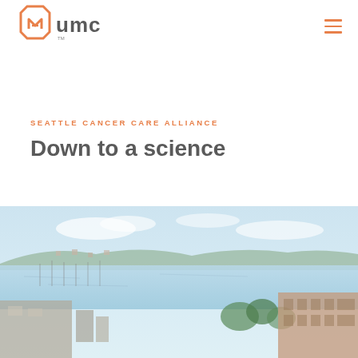[Figure (logo): UMC logo with orange geometric mark and grey 'umc' text]
SEATTLE CANCER CARE ALLIANCE
Down to a science
[Figure (photo): Aerial view of Seattle waterfront with marina, lake, hills with trees and residential buildings, and a brick building on the right. Blue sky with light clouds.]